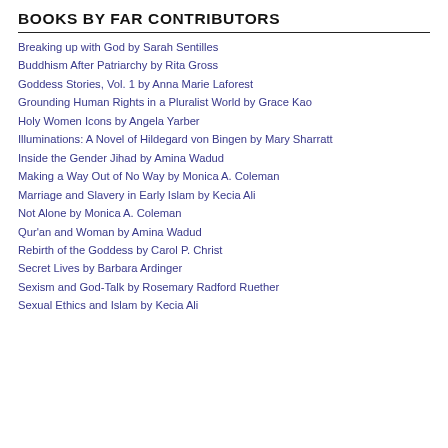BOOKS BY FAR CONTRIBUTORS
Breaking up with God by Sarah Sentilles
Buddhism After Patriarchy by Rita Gross
Goddess Stories, Vol. 1 by Anna Marie Laforest
Grounding Human Rights in a Pluralist World by Grace Kao
Holy Women Icons by Angela Yarber
Illuminations: A Novel of Hildegard von Bingen by Mary Sharratt
Inside the Gender Jihad by Amina Wadud
Making a Way Out of No Way by Monica A. Coleman
Marriage and Slavery in Early Islam by Kecia Ali
Not Alone by Monica A. Coleman
Qur'an and Woman by Amina Wadud
Rebirth of the Goddess by Carol P. Christ
Secret Lives by Barbara Ardinger
Sexism and God-Talk by Rosemary Radford Ruether
Sexual Ethics and Islam by Kecia Ali